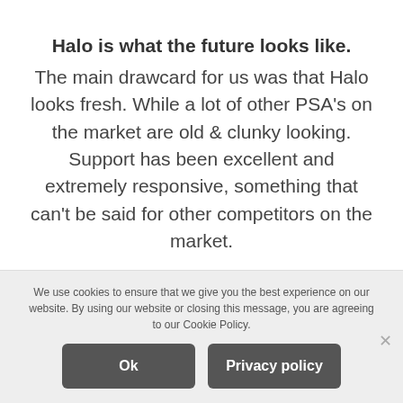Halo is what the future looks like. The main drawcard for us was that Halo looks fresh. While a lot of other PSA's on the market are old & clunky looking. Support has been excellent and extremely responsive, something that can't be said for other competitors on the market.
We use cookies to ensure that we give you the best experience on our website. By using our website or closing this message, you are agreeing to our Cookie Policy.
Ok
Privacy policy